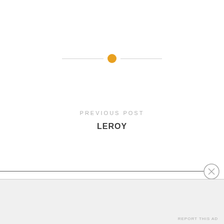[Figure (other): Decorative horizontal divider with a gold/yellow circle in the center and thin lines extending to the left and right]
PREVIOUS POST
LEROY
NEXT POST
How the Mind Works...
Advertisements
REPORT THIS AD